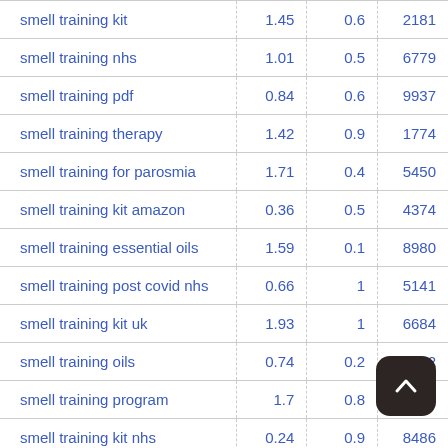| keyword | col1 | col2 | col3 |
| --- | --- | --- | --- |
| smell training kit | 1.45 | 0.6 | 2181 |
| smell training nhs | 1.01 | 0.5 | 6779 |
| smell training pdf | 0.84 | 0.6 | 9937 |
| smell training therapy | 1.42 | 0.9 | 1774 |
| smell training for parosmia | 1.71 | 0.4 | 5450 |
| smell training kit amazon | 0.36 | 0.5 | 4374 |
| smell training essential oils | 1.59 | 0.1 | 8980 |
| smell training post covid nhs | 0.66 | 1 | 5141 |
| smell training kit uk | 1.93 | 1 | 6684 |
| smell training oils | 0.74 | 0.2 | 2862 |
| smell training program | 1.7 | 0.8 | 48… |
| smell training kit nhs | 0.24 | 0.9 | 8486 |